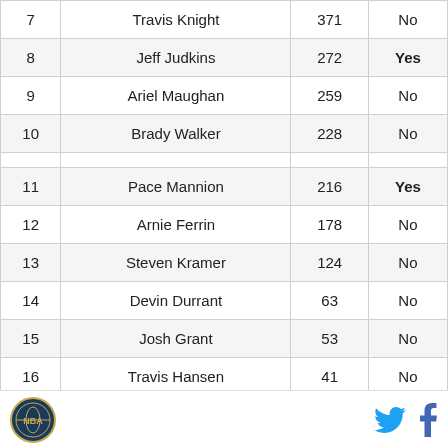| # | Name | Votes | Hall of Fame |
| --- | --- | --- | --- |
| 7 | Travis Knight | 371 | No |
| 8 | Jeff Judkins | 272 | Yes |
| 9 | Ariel Maughan | 259 | No |
| 10 | Brady Walker | 228 | No |
|  |  |  |  |
| 11 | Pace Mannion | 216 | Yes |
| 12 | Arnie Ferrin | 178 | No |
| 13 | Steven Kramer | 124 | No |
| 14 | Devin Durrant | 63 | No |
| 15 | Josh Grant | 53 | No |
| 16 | Travis Hansen | 41 | No |
| 17 | Britton | 26 | No |
Logo | Twitter | Facebook